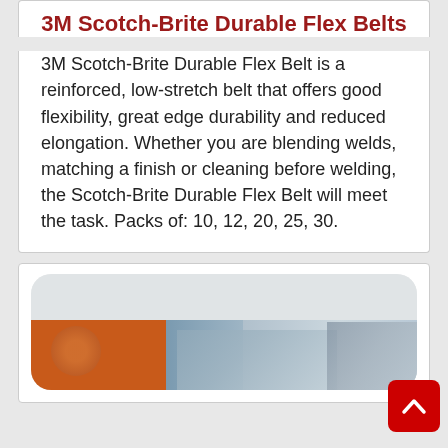3M Scotch-Brite Durable Flex Belts
3M Scotch-Brite Durable Flex Belt is a reinforced, low-stretch belt that offers good flexibility, great edge durability and reduced elongation. Whether you are blending welds, matching a finish or cleaning before welding, the Scotch-Brite Durable Flex Belt will meet the task. Packs of: 10, 12, 20, 25, 30.
[Figure (photo): Product image showing 3M Scotch-Brite Durable Flex Belts — orange and grey/blue belt material shown partially, on a light grey rounded card background]